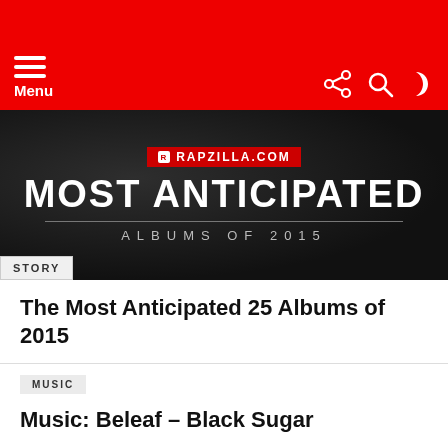Menu
[Figure (illustration): Rapzilla.com Most Anticipated Albums of 2015 promotional banner on dark textured background with STORY tag overlay]
The Most Anticipated 25 Albums of 2015
MUSIC
Music: Beleaf – Black Sugar
MUSIC VIDEOS
Video: Beleaf – Take No Days Off